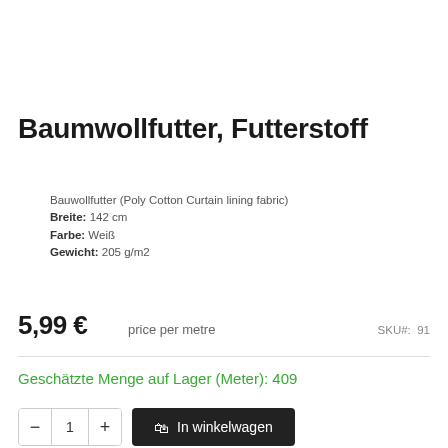Baumwollfutter, Futterstoff
Bauwollfutter (Poly Cotton Curtain lining fabric)
Breite: 142 cm
Farbe: Weiß
Gewicht: 205 g/m2
5,99 €   price per metre   SKU#: 91
Geschätzte Menge auf Lager (Meter): 409
— 1 +  In winkelwagen